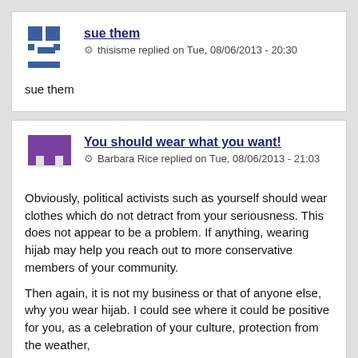sue them
thisisme replied on Tue, 08/06/2013 - 20:30
sue them
You should wear what you want!
Barbara Rice replied on Tue, 08/06/2013 - 21:03
Obviously, political activists such as yourself should wear clothes which do not detract from your seriousness. This does not appear to be a problem. If anything, wearing hijab may help you reach out to more conservative members of your community.
Then again, it is not my business or that of anyone else, why you wear hijab. I could see where it could be positive for you, as a celebration of your culture, protection from the weather,